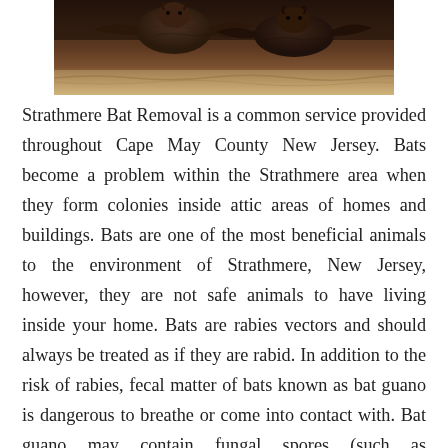[Figure (photo): Close-up photo of bats clustered together, dark brown furry bats resting on a surface, sandy/earthy background visible below]
Strathmere Bat Removal is a common service provided throughout Cape May County New Jersey. Bats become a problem within the Strathmere area when they form colonies inside attic areas of homes and buildings. Bats are one of the most beneficial animals to the environment of Strathmere, New Jersey, however, they are not safe animals to have living inside your home. Bats are rabies vectors and should always be treated as if they are rabid. In addition to the risk of rabies, fecal matter of bats known as bat guano is dangerous to breathe or come into contact with. Bat guano may contain fungal spores (such as Histoplasmosis) that can